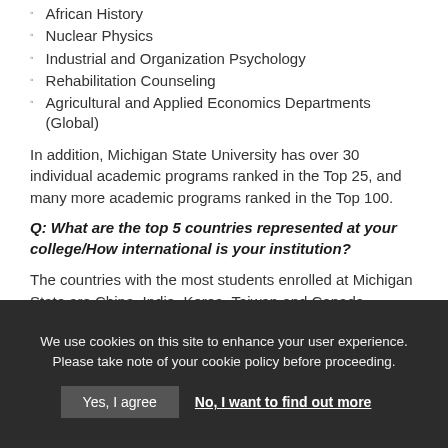African History
Nuclear Physics
Industrial and Organization Psychology
Rehabilitation Counseling
Agricultural and Applied Economics Departments (Global)
In addition, Michigan State University has over 30 individual academic programs ranked in the Top 25, and many more academic programs ranked in the Top 100.
Q: What are the top 5 countries represented at your college/How international is your institution?
The countries with the most students enrolled at Michigan State are China, India, Korea, Taiwan and Canada.
[partially visible text cut off]
We use cookies on this site to enhance your user experience. Please take note of your cookie policy before proceeding.
Yes, I agree  No, I want to find out more